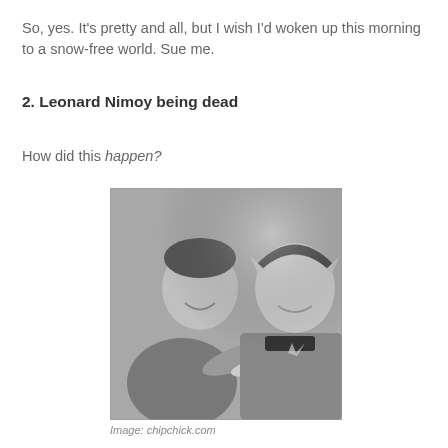So, yes. It's pretty and all, but I wish I'd woken up this morning to a snow-free world. Sue me.
2. Leonard Nimoy being dead
How did this happen?
[Figure (photo): Black and white photograph of two men in Star Trek uniforms, one laughing and holding a plate, the other smiling.]
Image: chipchick.com